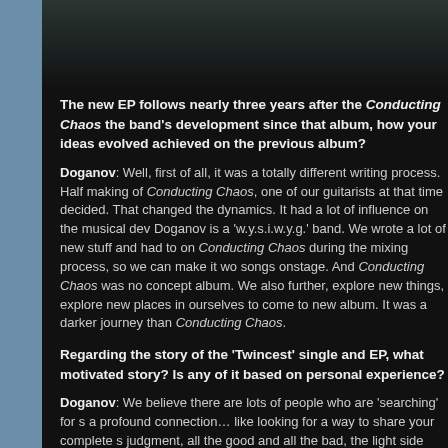[Figure (photo): Dark promotional photo of a band, partially visible at top of page]
The new EP follows nearly three years after the Conducting Chaos the band's development since that album, how your ideas evolved achieved on the previous album?
Doganov: Well, first of all, it was a totally different writing process. Half making of Conducting Chaos, one of our guitarists at that time decided. That changed the dynamics. It had a lot of influence on the musical dev Doganov is a 'w.y.s.i.w.y.g.' band. We wrote a lot of new stuff and had to on Conducting Chaos during the mixing process, so we can make it wo songs onstage. And Conducting Chaos was no concept album. We also further, explore new things, explore new places in ourselves to come to new album. It was a darker journey than Conducting Chaos.
Regarding the story of the 'Twincest' single and EP, what motivated story? Is any of it based on personal experience?
Doganov: We believe there are lots of people who are 'searching' for s a profound connection… like looking for a way to share your complete s judgment, all the good and all the bad, the light side and the dark side.